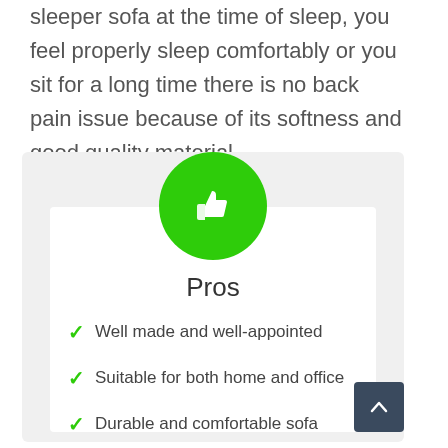sleeper sofa at the time of sleep, you feel properly sleep comfortably or you sit for a long time there is no back pain issue because of its softness and good quality material.
[Figure (infographic): Green circle with thumbs-up icon above a white card labeled Pros with three checkmark list items]
Well made and well-appointed
Suitable for both home and office
Durable and comfortable sofa